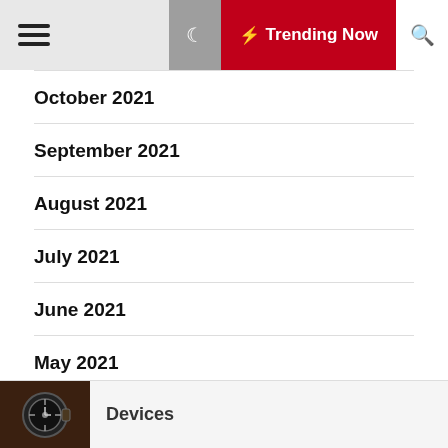☰  ☾  ⚡ Trending Now  🔍
October 2021
September 2021
August 2021
July 2021
June 2021
May 2021
April 2021
[Figure (photo): Close-up photo of a mechanical watch with dark tones]
Devices